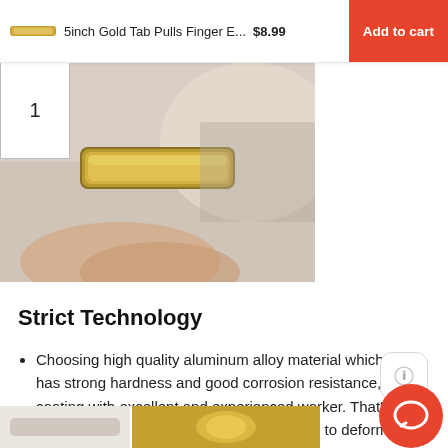5inch Gold Tab Pulls Finger E...  $8.99  Add to cart
[Figure (photo): Product photo area showing a gold tab pull drawer handle, partially visible with hand/fingers in the background]
Strict Technology
Choosing high quality aluminum alloy material which has strong hardness and good corrosion resistance, coo…ting with excellent and experienced worker. That's why our products are durable and not easy to deform and r…
[Figure (photo): Bottom strip showing two product photos of gold tab pull hardware]